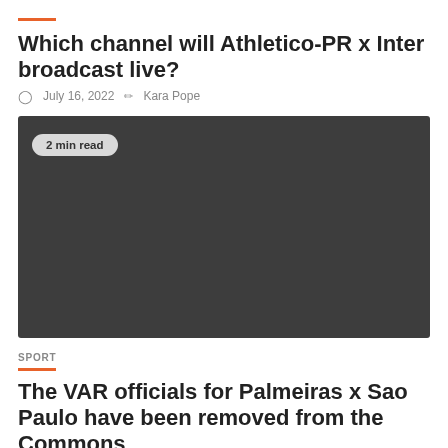Which channel will Athletico-PR x Inter broadcast live?
July 16, 2022   Kara Pope
[Figure (photo): Dark gray placeholder image with '2 min read' badge in upper left]
SPORT
The VAR officials for Palmeiras x Sao Paulo have been removed from the Commons